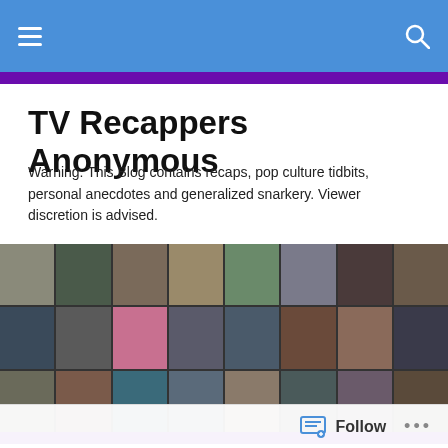TV Recappers Anonymous
Warning: This Blog contains recaps, pop culture tidbits, personal anecdotes and generalized snarkery. Viewer discretion is advised.
[Figure (photo): Collage of photos of various male TV characters/actors arranged in a grid]
TAGGED WITH BLAINE AND SEBASTIAN
Blaine, are you OK? Are you